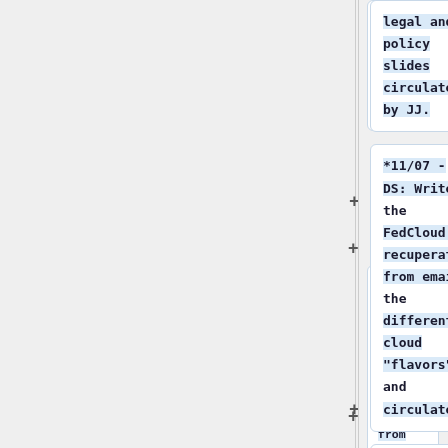legal and policy slides circulated by JJ.
*11/07 - DS: Write the FedCloud or recuperate from emails the different cloud “flavors” and circulate.
*11/10 - SH: Forward Charity Engine